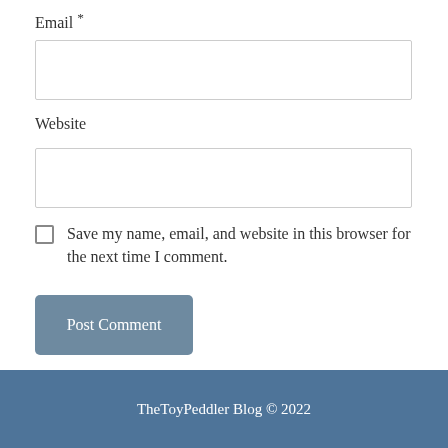Email *
Website
Save my name, email, and website in this browser for the next time I comment.
Post Comment
TheToyPeddler Blog © 2022